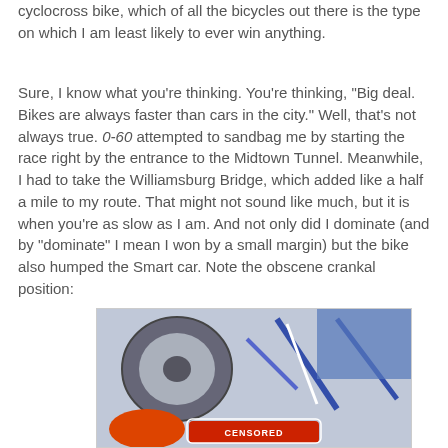cyclocross bike, which of all the bicycles out there is the type on which I am least likely to ever win anything.
Sure, I know what you're thinking. You're thinking, "Big deal. Bikes are always faster than cars in the city." Well, that's not always true. 0-60 attempted to sandbag me by starting the race right by the entrance to the Midtown Tunnel. Meanwhile, I had to take the Williamsburg Bridge, which added like a half a mile to my route. That might not sound like much, but it is when you're as slow as I am. And not only did I dominate (and by "dominate" I mean I won by a small margin) but the bike also humped the Smart car. Note the obscene crankal position:
[Figure (photo): Photo of a bicycle leaning against or near a car, with a red CENSORED badge overlaid at the bottom center, partially cropped.]